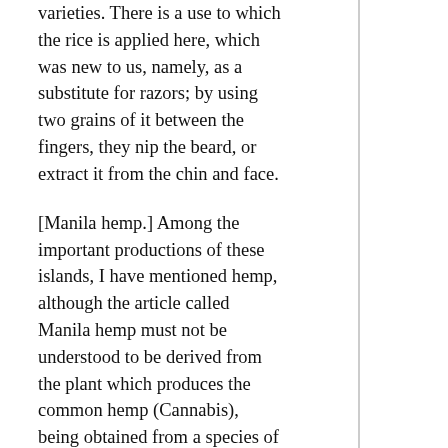varieties. There is a use to which the rice is applied here, which was new to us, namely, as a substitute for razors; by using two grains of it between the fingers, they nip the beard, or extract it from the chin and face.
[Manila hemp.] Among the important productions of these islands, I have mentioned hemp, although the article called Manila hemp must not be understood to be derived from the plant which produces the common hemp (Cannabis), being obtained from a species of plantain (Musa textilis), called in the Philippines “abacá.” This is a native of